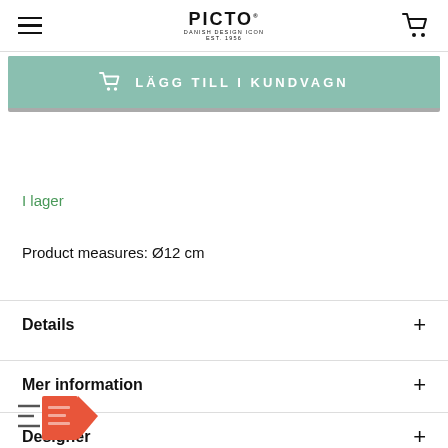PICTO — navigation header with hamburger menu and cart icon
LÄGG TILL I KUNDVAGN
I lager
Product measures: Ø12 cm
Details
Mer information
Designer
[Figure (illustration): Partial illustration of a delivery/package icon at bottom left of page]